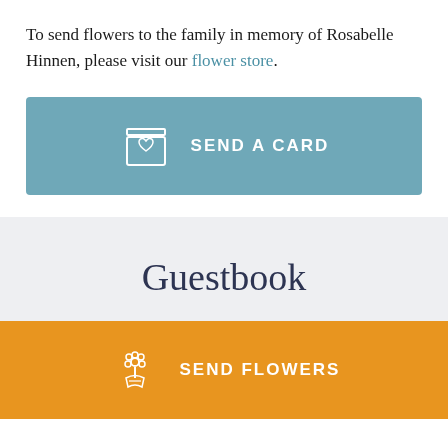To send flowers to the family in memory of Rosabelle Hinnen, please visit our flower store.
[Figure (other): Teal/blue button with card icon and text 'SEND A CARD']
Guestbook
[Figure (other): Orange button with flower bouquet icon and text 'SEND FLOWERS']